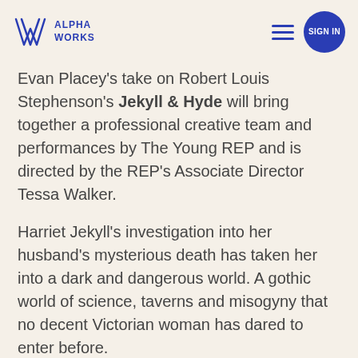ALPHA WORKS
Evan Placey’s take on Robert Louis Stephenson’s Jekyll & Hyde will bring together a professional creative team and performances by The Young REP and is directed by the REP’s Associate Director Tessa Walker.
Harriet Jekyll’s investigation into her husband’s mysterious death has taken her into a dark and dangerous world. A gothic world of science, taverns and misogyny that no decent Victorian woman has dared to enter before.
It’s a world that she’s desperate to change